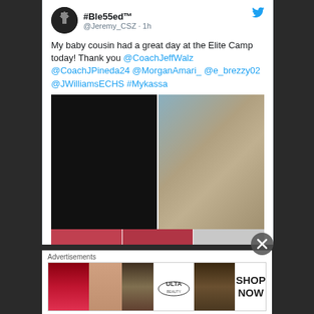#Ble55ed™ @Jeremy_CSZ · 1h
My baby cousin had a great day at the Elite Camp today! Thank you @CoachJeffWalz @CoachJPineda24 @MorganAmari_ @e_brezzy02 @JWilliamsECHS #Mykassa
[Figure (photo): Two photos side by side: left photo is dark/black, right photo shows two young women posing together in a gymnasium, one wearing a white Louisville Athletics shirt and one in a black shirt]
Advertisements
[Figure (photo): ULTA Beauty advertisement banner showing beauty/makeup imagery with lips, brushes, eyes, ULTA logo, and SHOP NOW text]